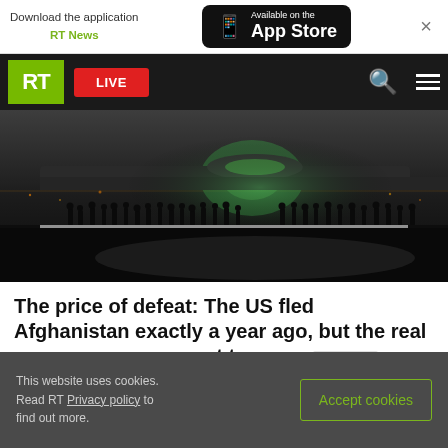[Figure (screenshot): App download banner with RT News logo and App Store button]
RT News navigation bar with LIVE button, search and menu icons
[Figure (photo): Night-time military airfield scene with silhouettes of people boarding or standing near a large military aircraft, illuminated from behind]
The price of defeat: The US fled Afghanistan exactly a year ago, but the real consequences are yet to come FEATURE
This website uses cookies. Read RT Privacy policy to find out more.
Accept cookies